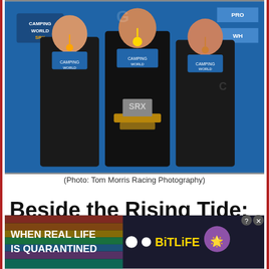[Figure (photo): Three racing drivers in black Camping World SRX race suits standing on a podium, each wearing orange medals. The center driver holds a large SRX trophy. Blue SRX branded backdrop behind them.]
(Photo: Tom Morris Racing Photography)
Beside the Rising Tide: All-Stars, Super Stars and Fast Loud Cars
[Figure (photo): BitLife advertisement banner with rainbow colors, text 'WHEN REAL LIFE IS QUARANTINED' and BitLife logo with emoji characters]